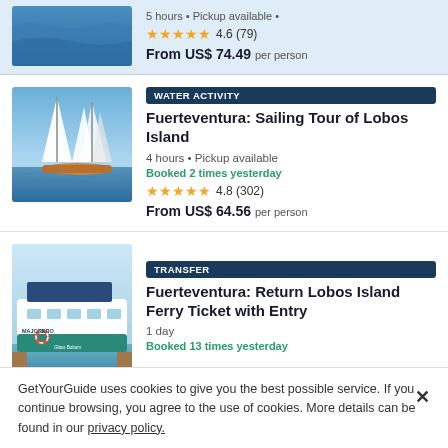[Figure (photo): Ocean/water photo with blue waves, partially cropped at top]
5 hours • Pickup available •
4.6 (79)
From US$ 74.49 per person
WATER ACTIVITY
[Figure (photo): Sailing boats with white sails against blue sky]
Fuerteventura: Sailing Tour of Lobos Island
4 hours • Pickup available
Booked 2 times yesterday
4.8 (302)
From US$ 64.56 per person
TRANSFER
[Figure (photo): Ferry boat named Majorero with Glass Bottom text, docked at port]
Fuerteventura: Return Lobos Island Ferry Ticket with Entry
1 day
Booked 13 times yesterday
GetYourGuide uses cookies to give you the best possible service. If you continue browsing, you agree to the use of cookies. More details can be found in our privacy policy.